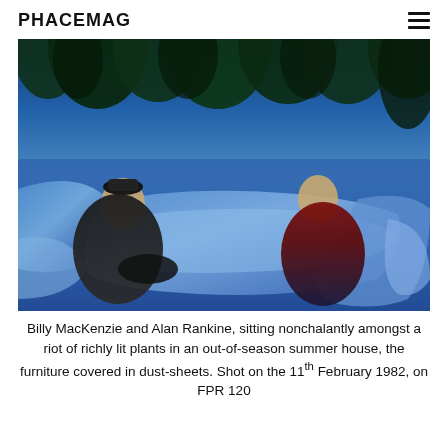PHACEMAG
[Figure (photo): Billy MacKenzie and Alan Rankine sitting nonchalantly amongst richly lit plants in an out-of-season summer house, the furniture covered in dust-sheets. Two figures in dark clothing seated amid blue-tinted dustsheets with tropical foliage behind them.]
Billy MacKenzie and Alan Rankine, sitting nonchalantly amongst a riot of richly lit plants in an out-of-season summer house, the furniture covered in dust-sheets. Shot on the 11th February 1982, on FPR 120